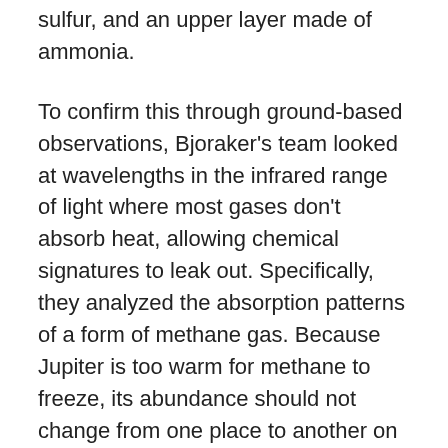sulfur, and an upper layer made of ammonia.
To confirm this through ground-based observations, Bjoraker's team looked at wavelengths in the infrared range of light where most gases don't absorb heat, allowing chemical signatures to leak out. Specifically, they analyzed the absorption patterns of a form of methane gas. Because Jupiter is too warm for methane to freeze, its abundance should not change from one place to another on the planet.
“If you see that the strength of methane lines vary from inside to outside of the Great Red Spot, it's not because there's more methane here than there,” said Bjoraker, “it's because there are thicker, deep clouds that are blocking the radiation in the Great Red Spot.”
Bjoraker’s team found evidence for the three cloud layers